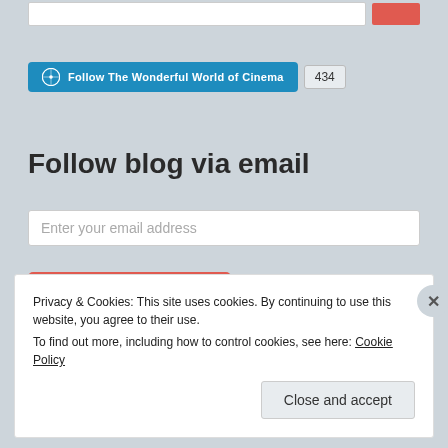[Figure (screenshot): Search bar input field at top with red Search button on right]
[Figure (screenshot): WordPress Follow button with blue background reading 'Follow The Wonderful World of Cinema' and a grey badge showing count 434]
Follow blog via email
[Figure (screenshot): Email input field with placeholder text 'Enter your email address']
[Figure (screenshot): Red button labeled 'Follow blog via email']
Privacy & Cookies: This site uses cookies. By continuing to use this website, you agree to their use.
To find out more, including how to control cookies, see here: Cookie Policy
Close and accept